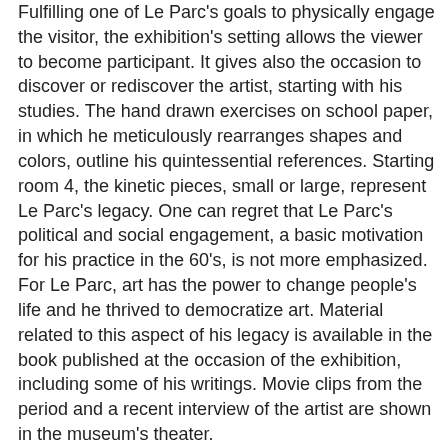Fulfilling one of Le Parc's goals to physically engage the visitor, the exhibition's setting allows the viewer to become participant. It gives also the occasion to discover or rediscover the artist, starting with his studies. The hand drawn exercises on school paper, in which he meticulously rearranges shapes and colors, outline his quintessential references. Starting room 4, the kinetic pieces, small or large, represent Le Parc's legacy. One can regret that Le Parc's political and social engagement, a basic motivation for his practice in the 60's, is not more emphasized. For Le Parc, art has the power to change people's life and he thrived to democratize art. Material related to this aspect of his legacy is available in the book published at the occasion of the exhibition, including some of his writings. Movie clips from the period and a recent interview of the artist are shown in the museum's theater. Another goal of Le Parc was to create emotionless art. Completely detached from the work, the artist leaves the viewer interact directly with the art and transform it. He succeeds in a way that his work reaches the coldness of op art. But spirituality seeps in, due to his search for infinite combinations of shapes and colors. Technically flawless, the